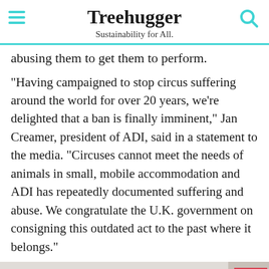Treehugger
Sustainability for All.
abusing them to get them to perform.
"Having campaigned to stop circus suffering around the world for over 20 years, we're delighted that a ban is finally imminent," Jan Creamer, president of ADI, said in a statement to the media. "Circuses cannot meet the needs of animals in small, mobile accommodation and ADI has repeatedly documented suffering and abuse. We congratulate the U.K. government on consigning this outdated act to the past where it belongs."
[Figure (photo): Partial image of an animal (appears to be a bear or large animal) and a partial sign visible at the right edge, with an 'Ad' label in the corner.]